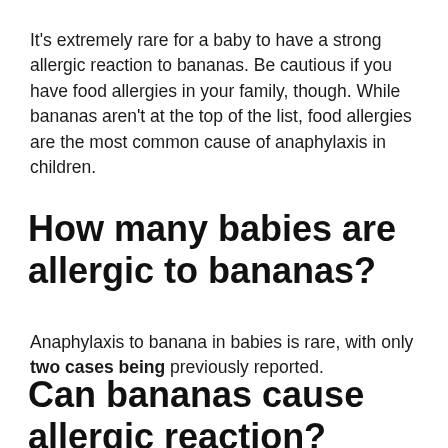It's extremely rare for a baby to have a strong allergic reaction to bananas. Be cautious if you have food allergies in your family, though. While bananas aren't at the top of the list, food allergies are the most common cause of anaphylaxis in children.
How many babies are allergic to bananas?
Anaphylaxis to banana in babies is rare, with only two cases being previously reported.
Can bananas cause allergic reaction?